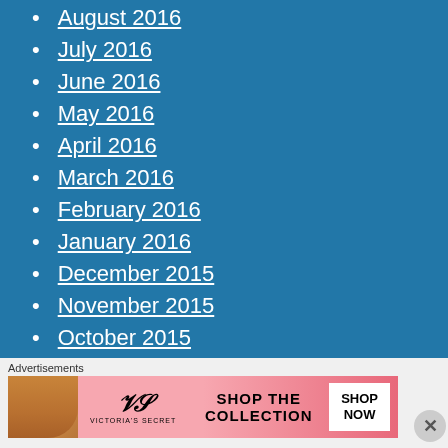August 2016
July 2016
June 2016
May 2016
April 2016
March 2016
February 2016
January 2016
December 2015
November 2015
October 2015
September 2015
August 2015
Advertisements
[Figure (other): Victoria's Secret advertisement banner with a model, VS logo, and text 'SHOP THE COLLECTION' with a 'SHOP NOW' button]